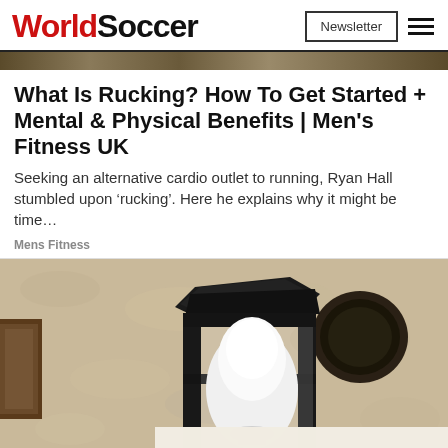WorldSoccer — Newsletter | Menu
What Is Rucking? How To Get Started + Mental & Physical Benefits | Men's Fitness UK
Seeking an alternative cardio outlet to running, Ryan Hall stumbled upon 'rucking'. Here he explains why it might be time…
Mens Fitness
[Figure (photo): Close-up photograph of a black metal wall-mounted lantern with a white light bulb visible inside, mounted against a textured sandy/cream stucco wall. There is a partial view of a dark wooden element on the left.]